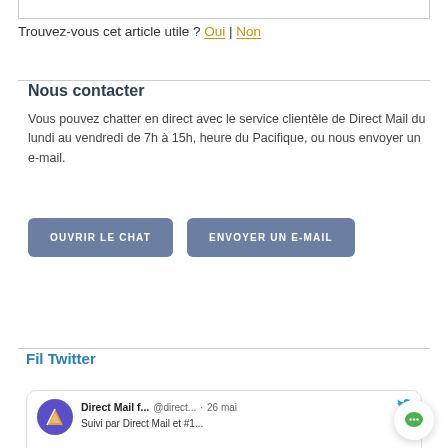Trouvez-vous cet article utile ? Oui | Non
Nous contacter
Vous pouvez chatter en direct avec le service clientèle de Direct Mail du lundi au vendredi de 7h à 15h, heure du Pacifique, ou nous envoyer un e-mail.
OUVRIR LE CHAT
ENVOYER UN E-MAIL
Fil Twitter
Direct Mail f... @direct... · 26 mai